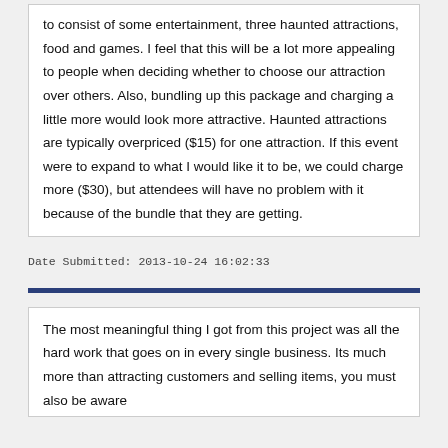to consist of some entertainment, three haunted attractions, food and games. I feel that this will be a lot more appealing to people when deciding whether to choose our attraction over others. Also, bundling up this package and charging a little more would look more attractive. Haunted attractions are typically overpriced ($15) for one attraction. If this event were to expand to what I would like it to be, we could charge more ($30), but attendees will have no problem with it because of the bundle that they are getting.
Date Submitted: 2013-10-24 16:02:33
The most meaningful thing I got from this project was all the hard work that goes on in every single business. Its much more than attracting customers and selling items, you must also be aware